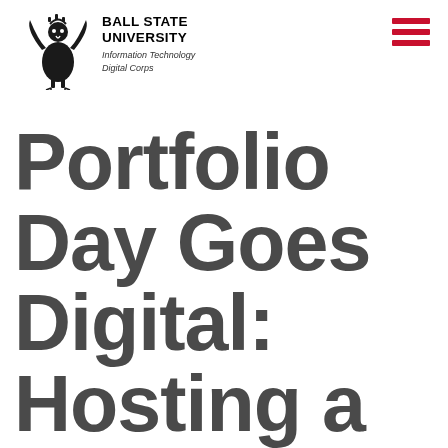BALL STATE UNIVERSITY — Information Technology Digital Corps
Portfolio Day Goes Digital: Hosting a Remote